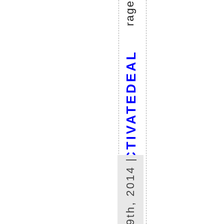rage
ACTIVATEDEAL
May 9th, 2014 |